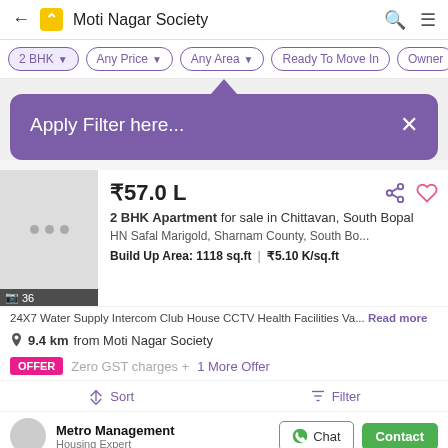Moti Nagar Society
2 BHK | Any Price | Any Area | Ready To Move In | Owner
Apply Filter here...
₹57.0 L
2 BHK Apartment for sale in Chittavan, South Bopal
HN Safal Marigold, Sharnam County, South Bo...
Build Up Area: 1118 sq.ft  |  ₹5.10 K/sq.ft
24X7 Water Supply Intercom Club House CCTV Health Facilities Va... Read more
9.4 km from Moti Nagar Society
OFFER  Zero GST charges + 1 More Offer
Sort  Filter
Metro Management
Housing Expert